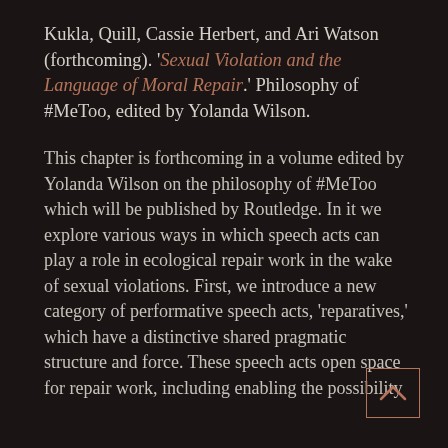Kukla, Quill, Cassie Herbert, and Ari Watson (forthcoming). 'Sexual Violation and the Language of Moral Repair.' Philosophy of #MeToo, edited by Yolanda Wilson.
This chapter is forthcoming in a volume edited by Yolanda Wilson on the philosophy of #MeToo which will be published by Routledge. In it we explore various ways in which speech acts can play a role in ecological repair work in the wake of sexual violations. First, we introduce a new category of performative speech acts, 'reparatives,' which have a distinctive shared pragmatic structure and force. These speech acts open space for repair work, including enabling the possibility